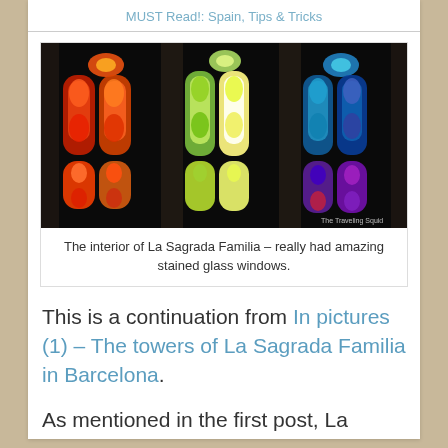MUST Read!: Spain, Tips & Tricks
[Figure (photo): Interior of La Sagrada Familia showing colorful stained glass windows — red/orange on left, yellow/white in center, blue/green/purple on right — with dark stone columns framing tall Gothic-style windows]
The interior of La Sagrada Familia – really had amazing stained glass windows.
This is a continuation from In pictures (1) – The towers of La Sagrada Familia in Barcelona.
As mentioned in the first post, La